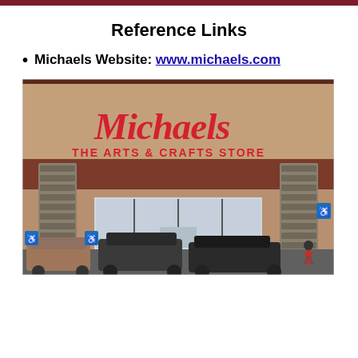Reference Links
Michaels Website: www.michaels.com
[Figure (photo): Exterior photo of a Michaels Arts & Crafts Store storefront, showing the large red Michaels script logo and 'THE ARTS & CRAFTS STORE' signage, with stone pillars, storefront windows, and cars parked in front.]